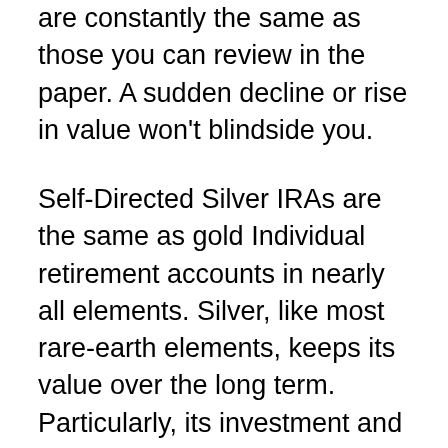are constantly the same as those you can review in the paper. A sudden decline or rise in value won't blindside you.
Self-Directed Silver IRAs are the same as gold Individual retirement accounts in nearly all elements. Silver, like most rare-earth elements, keeps its value over the long term. Particularly, its investment and also commercial uses indicate that its worth obtains established by those fields.
Contrasted to the gains of gold, which are slow-moving and also are noticeable in the long-term, silver earnings happen at an extra recognizable portion. It is a fantastic selection if you want to grow your present riches and also remain to diversify your